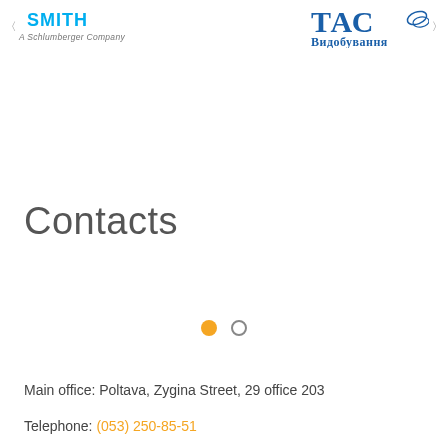[Figure (logo): Smith logo with 'A Schlumberger Company' tagline on the left, and TAS Vydobuvannya (ТАС Видобування) logo in blue on the right]
Contacts
[Figure (infographic): Two navigation dots: one filled orange, one empty circle outline]
Main office: Poltava, Zygina Street, 29 office 203
Telephone: (053) 250-85-51